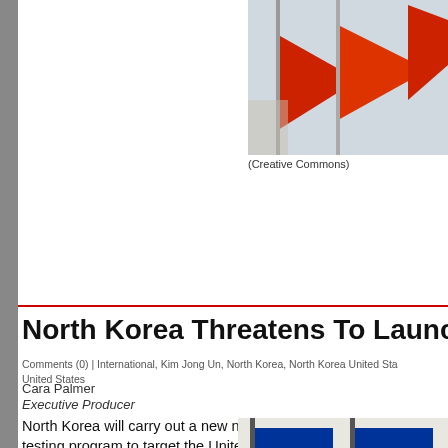[Figure (photo): Red flags photo (top right, Creative Commons)]
(Creative Commons)
North Korea Threatens To Launch Nuclear T
Comments (0) | International, Kim Jong Un, North Korea, North Korea United States, United States
Cara Palmer
Executive Producer
North Korea will carry out a new nuclear testing program to target the United States, "the sworn enemy of the Korean people."
Read more...
[Figure (photo): North Korean flags with star emblem (bottom right)]